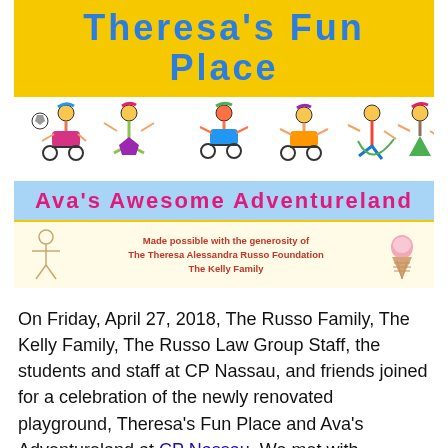[Figure (illustration): Theresa's Fun Place banner with yellow background and blue playful text, followed by cartoon stick-figure children in wheelchairs and playing, then Ava's Awesome Adventureland blue banner in pink text, and a 'Made possible with the generosity of The Theresa Alessandra Russo Foundation The Kelly Family' strip with stick figure and ice cream cone illustrations.]
On Friday, April 27, 2018, The Russo Family, The Kelly Family, The Russo Law Group Staff, the students and staff at CP Nassau, and friends joined for a celebration of the newly renovated playground, Theresa's Fun Place and Ava's Adventureland at CP Nassau. We met with students and learned about their program MOVE – Mobility Opportunities Via Education. This program helps improve the overall quality of individual life...